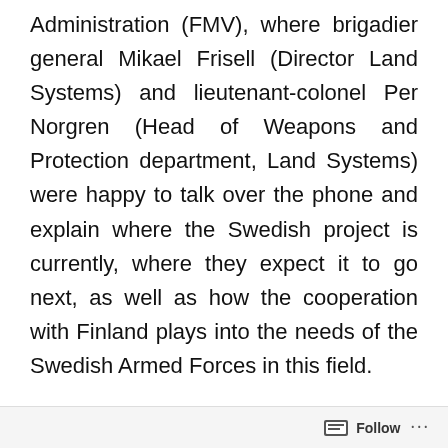Administration (FMV), where brigadier general Mikael Frisell (Director Land Systems) and lieutenant-colonel Per Norgren (Head of Weapons and Protection department, Land Systems) were happy to talk over the phone and explain where the Swedish project is currently, where they expect it to go next, as well as how the cooperation with Finland plays into the needs of the Swedish Armed Forces in this field.
While there is a need to replace the current armoury, this is also happening as the Swedish Armed Forces in general and the
Follow